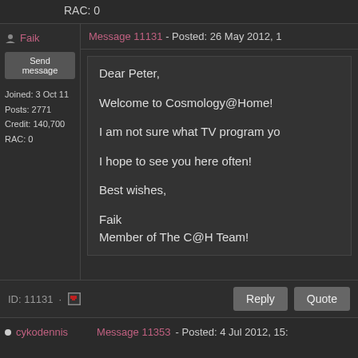RAC: 0
Faik
Message 11131 - Posted: 26 May 2012, 1
Send message
Joined: 3 Oct 11
Posts: 2771
Credit: 140,700
RAC: 0
Dear Peter,

Welcome to Cosmology@Home!

I am not sure what TV program yo

I hope to see you here often!

Best wishes,

Faik
Member of The C@H Team!
ID: 11131 ·
Reply
Quote
cykodennis
Message 11353 - Posted: 4 Jul 2012, 15: